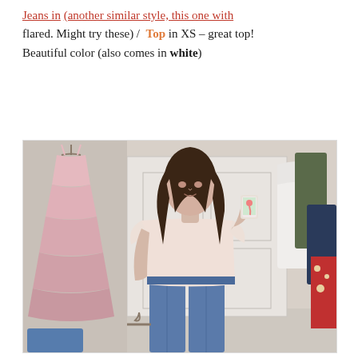flared. Might try these) /  Top in XS – great top! Beautiful color (also comes in white)
[Figure (photo): Woman taking a mirror selfie in a dressing room wearing a light pink ruffle-sleeve top and blue skinny jeans. A pink tiered dress hangs on a mirror to the left. Clothing on hangers visible to the right including white, olive, and patterned garments.]